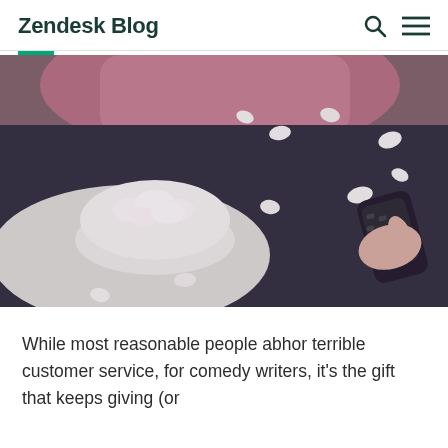Zendesk Blog
[Figure (photo): Person lying down wearing dark clothing, holding a TV remote, with a bowl of popcorn nearby and scattered popcorn pieces around them]
While most reasonable people abhor terrible customer service, for comedy writers, it's the gift that keeps giving (or